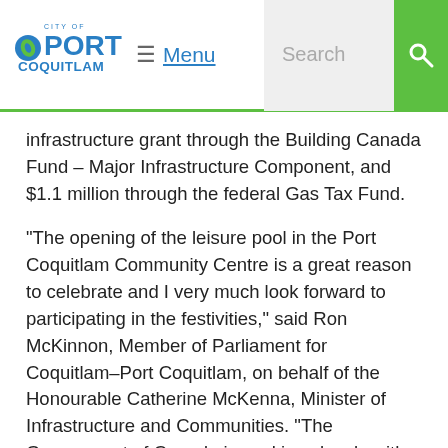Port Coquitlam — Menu | Search
infrastructure grant through the Building Canada Fund – Major Infrastructure Component, and $1.1 million through the federal Gas Tax Fund.
“The opening of the leisure pool in the Port Coquitlam Community Centre is a great reason to celebrate and I very much look forward to participating in the festivities,” said Ron McKinnon, Member of Parliament for Coquitlam–Port Coquitlam, on behalf of the Honourable Catherine McKenna, Minister of Infrastructure and Communities. “The Government of Canada is working closely with our provincial and municipal partners to get projects built that make a real difference in people’s lives. I’m thrilled to see this support bring us to another milestone in meeting the needs of our growing community and providing the facilities we need to lead active healthy lives.”